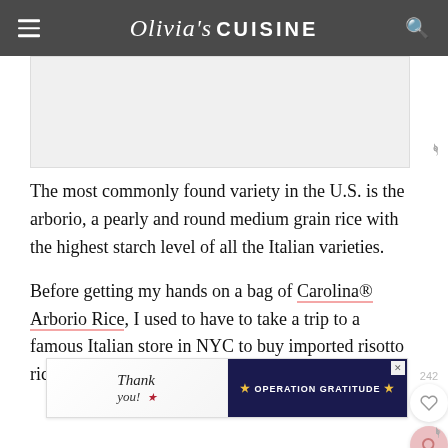Olivia's CUISINE
[Figure (photo): Partial photo/image area, mostly cropped out at top of page]
The most commonly found variety in the U.S. is the arborio, a pearly and round medium grain rice with the highest starch level of all the Italian varieties.
Before getting my hands on a bag of Carolina® Arborio Rice, I used to have to take a trip to a famous Italian store in NYC to buy imported risotto rice. Not anymore!
[Figure (photo): Advertisement banner: Operation Gratitude thank you ad with firefighters image]